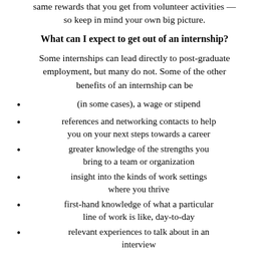same rewards that you get from volunteer activities — so keep in mind your own big picture.
What can I expect to get out of an internship?
Some internships can lead directly to post-graduate employment, but many do not. Some of the other benefits of an internship can be
(in some cases), a wage or stipend
references and networking contacts to help you on your next steps towards a career
greater knowledge of the strengths you bring to a team or organization
insight into the kinds of work settings where you thrive
first-hand knowledge of what a particular line of work is like, day-to-day
relevant experiences to talk about in an interview